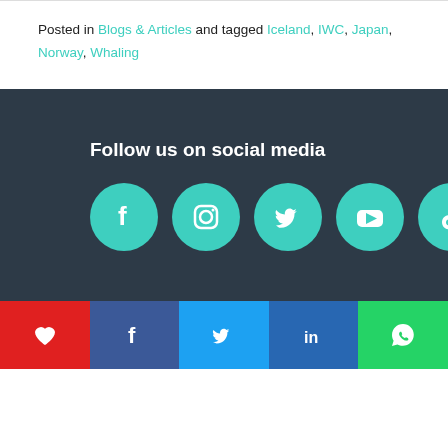Posted in Blogs & Articles and tagged Iceland, IWC, Japan, Norway, Whaling
Follow us on social media
[Figure (other): Five teal circular social media icons: Facebook, Instagram, Twitter, YouTube, TikTok]
[Figure (other): Bottom share bar with five buttons: heart/like (red), Facebook (dark blue), Twitter (light blue), LinkedIn (blue), WhatsApp (green)]